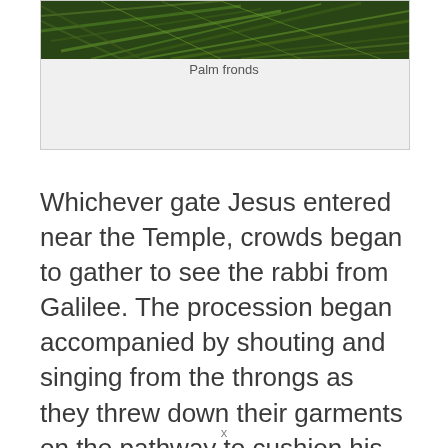[Figure (photo): Close-up photograph of palm fronds, dark green foliage filling the frame]
Palm fronds
Whichever gate Jesus entered near the Temple, crowds began to gather to see the rabbi from Galilee. The procession began accompanied by shouting and singing from the throngs as they threw down their garments on the pathway to cushion his ride — an Oriental custom still observed on occasions — as well as palm
x